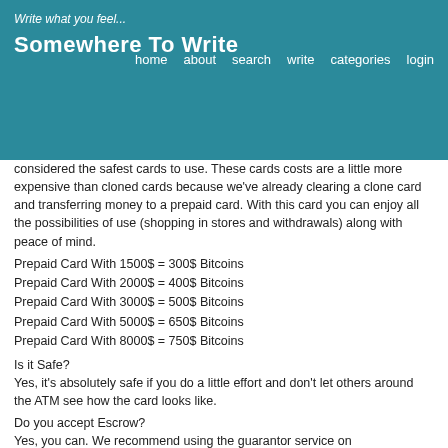Write what you feel... Somewhere To Write | home about search write categories login
considered the safest cards to use. These cards costs are a little more expensive than cloned cards because we've already clearing a clone card and transferring money to a prepaid card. With this card you can enjoy all the possibilities of use (shopping in stores and withdrawals) along with peace of mind.
Prepaid Card With 1500$ = 300$ Bitcoins
Prepaid Card With 2000$ = 400$ Bitcoins
Prepaid Card With 3000$ = 500$ Bitcoins
Prepaid Card With 5000$ = 650$ Bitcoins
Prepaid Card With 8000$ = 750$ Bitcoins
Is it Safe?
Yes, it's absolutely safe if you do a little effort and don't let others around the ATM see how the card looks like.
Do you accept Escrow?
Yes, you can. We recommend using the guarantor service on www.bigshop79.com click to file buy cloned cards
How can I trust you?
We has been working since 2009 and looking at professionalism of members of our team and positive responses of our clients, you can be convinced that we are legit.